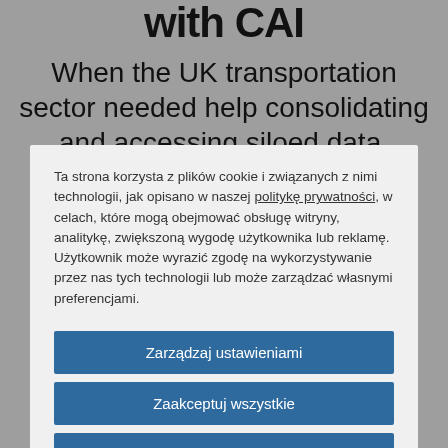with CAI
When the UK transportation sector needed help consolidating and accessing siloed data, Costain
Ta strona korzysta z plików cookie i związanych z nimi technologii, jak opisano w naszej polityce prywatności, w celach, które mogą obejmować obsługę witryny, analitykę, zwiększoną wygodę użytkownika lub reklamę. Użytkownik może wyrazić zgodę na wykorzystywanie przez nas tych technologii lub może zarządzać własnymi preferencjami.
Zarządzaj ustawieniami
Zaakceptuj wszystkie
Odrzuć wszystko
Oświadczenie dotyczące plików cookie